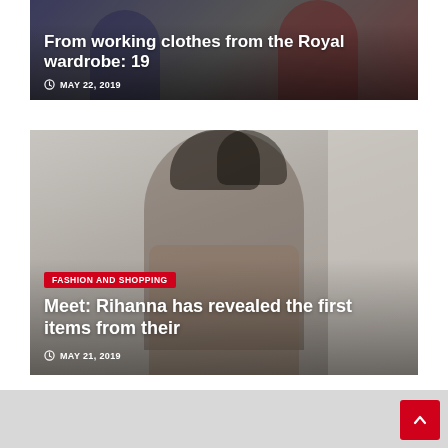[Figure (photo): Top article card (partial): fashion photo showing two people in colorful clothes with overlaid title text. Background image cropped at top.]
From working clothes from the Royal wardrobe: 19
MAY 22, 2019
[Figure (photo): Article card with photo of Rihanna, a woman with curly updo hair, wearing a beige wrapped top, photographed against a light grey background.]
FASHION AND SHOPPING
Meet: Rihanna has revealed the first items from their
MAY 21, 2019